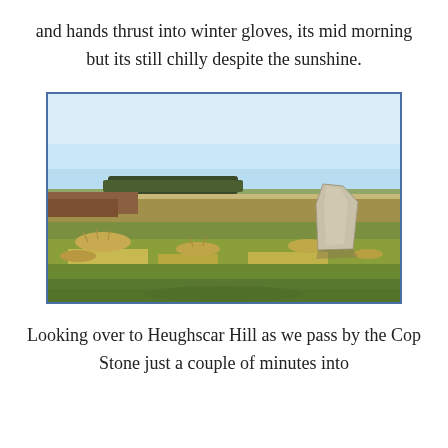and hands thrust into winter gloves, its mid morning but its still chilly despite the sunshine.
[Figure (photo): Open moorland landscape with dry grass in the foreground, a large pale standing stone visible to the right, a dark line of trees along the distant horizon under a clear blue sky.]
Looking over to Heughscar Hill as we pass by the Cop Stone just a couple of minutes into